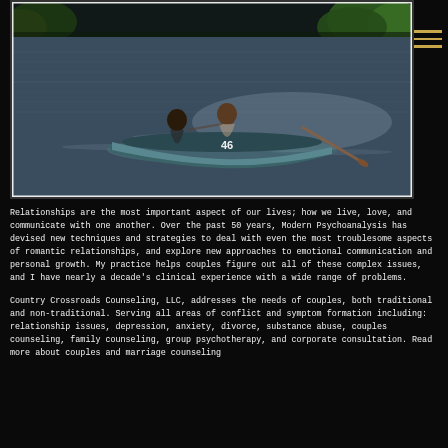[Figure (photo): A couple sitting in a rowboat numbered 46 on a lake, with trees in the background. The image is framed with a white/light border against a black background.]
Relationships are the most important aspect of our lives; how we live, love, and communicate with one another. Over the past 50 years, Modern Psychoanalysis has devised new techniques and strategies to deal with even the most troublesome aspects of romantic relationships, and explore new approaches to emotional communication and personal growth. My practice helps couples figure out all of these complex issues, and I have nearly a decade's clinical experience with a wide range of problems.
Country Crossroads Counseling, LLC, addresses the needs of couples, both traditional and non-traditional. Serving all areas of conflict and symptom formation including: relationship issues, depression, anxiety, divorce, substance abuse, couples counseling, family counseling, group psychotherapy, and corporate consultation. Read more about couples and marriage counseling